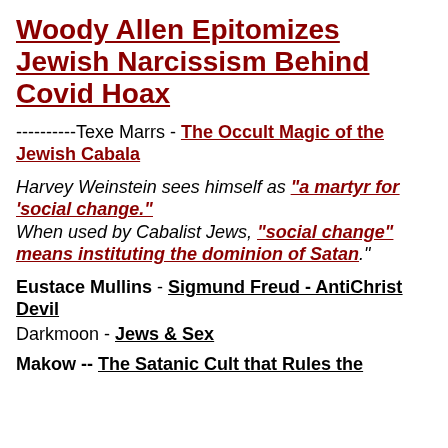Woody Allen Epitomizes Jewish Narcissism Behind Covid Hoax
----------Texe Marrs - The Occult Magic of the Jewish Cabala
Harvey Weinstein sees himself as "a martyr for 'social change." When used by Cabalist Jews, "social change" means instituting the dominion of Satan."
Eustace Mullins - Sigmund Freud - AntiChrist Devil
Darkmoon - Jews & Sex
Makow -- The Satanic Cult that Rules the